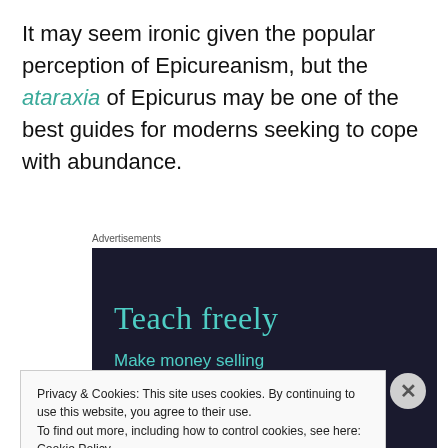It may seem ironic given the popular perception of Epicureanism, but the ataraxia of Epicurus may be one of the best guides for moderns seeking to cope with abundance.
Advertisements
[Figure (other): Dark navy advertisement box with teal/mint text reading 'Teach freely' as headline and 'Make money selling online courses.' as subtext]
Privacy & Cookies: This site uses cookies. By continuing to use this website, you agree to their use. To find out more, including how to control cookies, see here: Cookie Policy